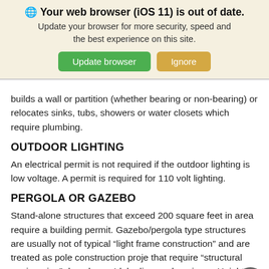[Figure (screenshot): Browser out-of-date warning banner with globe icon, bold title 'Your web browser (iOS 11) is out of date.', subtitle text, and two buttons: green 'Update browser' and tan 'Ignore']
builds a wall or partition (whether bearing or non-bearing) or relocates sinks, tubs, showers or water closets which require plumbing.
OUTDOOR LIGHTING
An electrical permit is not required if the outdoor lighting is low voltage. A permit is required for 110 volt lighting.
PERGOLA OR GAZEBO
Stand-alone structures that exceed 200 square feet in area require a building permit. Gazebo/pergola type structures are usually not of typical “light frame construction” and are treated as pole construction proje that require “structural engineering” done by an Idaho licensed engineer. Height restrictions may apply in some